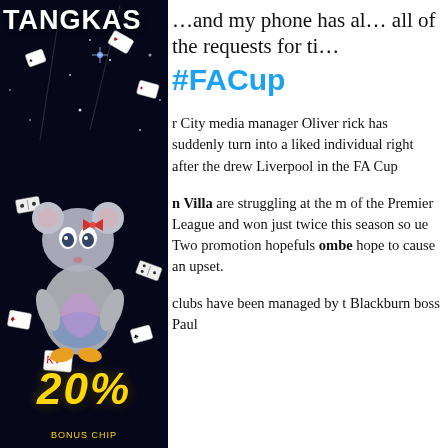[Figure (illustration): Tangkas promotional image with dark starry background, cartoon mouse mascot holding cards, scattered playing cards, '20%' text in gold at bottom, and 'TANGKAS' branding at top left.]
…and my phone has al… all of the requests for ti…
#FACup
r City media manager Oliver rick has suddenly turn into a liked individual right after the drew Liverpool in the FA Cup
n Villa are struggling at the m of the Premier League and won just twice this season so ue Two promotion hopefuls ombe hope to cause an upset.
clubs have been managed by t Blackburn boss Paul